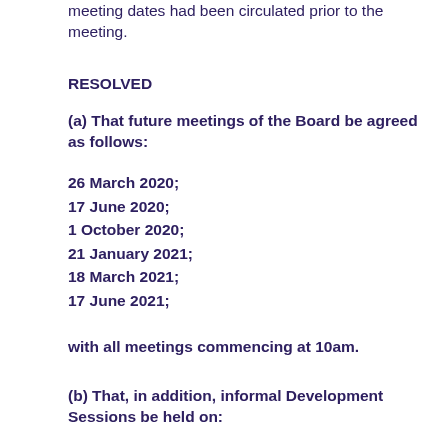The Board was reminded that a list of prospective meeting dates had been circulated prior to the meeting.
RESOLVED
(a) That future meetings of the Board be agreed as follows:
26 March 2020;
17 June 2020;
1 October 2020;
21 January 2021;
18 March 2021;
17 June 2021;
with all meetings commencing at 10am.
(b) That, in addition, informal Development Sessions be held on: